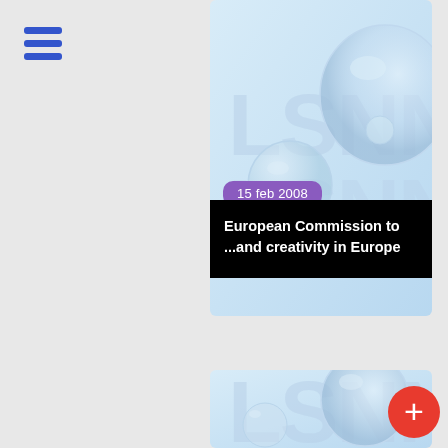[Figure (logo): Hamburger menu icon with three blue horizontal bars]
[Figure (illustration): LSNN logo with decorative water bubbles on light blue gradient background - top card]
15 feb 2008
European Commission to ...and creativity in Europe
[Figure (illustration): LSNN logo with decorative water bubbles on light blue gradient background - bottom card (partially visible)]
[Figure (other): Red circular plus button]